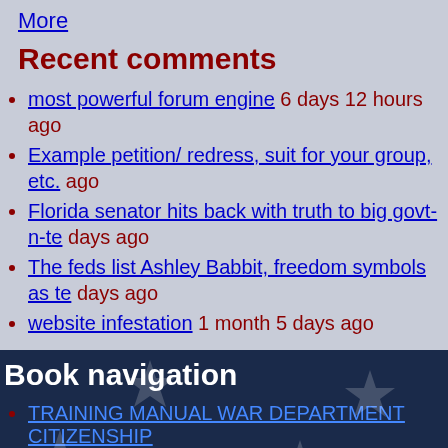More
Recent comments
most powerful forum engine 6 days 12 hours ago
Example petition/ redress, suit for your group, etc. ago
Florida senator hits back with truth to big govt-n-te days ago
The feds list Ashley Babbit, freedom symbols as te days ago
website infestation 1 month 5 days ago
Book navigation
TRAINING MANUAL WAR DEPARTMENT CITIZENSHIP